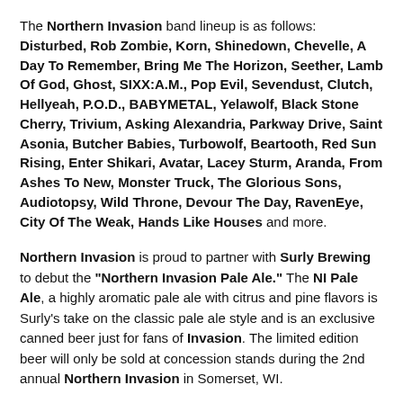The Northern Invasion band lineup is as follows: Disturbed, Rob Zombie, Korn, Shinedown, Chevelle, A Day To Remember, Bring Me The Horizon, Seether, Lamb Of God, Ghost, SIXX:A.M., Pop Evil, Sevendust, Clutch, Hellyeah, P.O.D., BABYMETAL, Yelawolf, Black Stone Cherry, Trivium, Asking Alexandria, Parkway Drive, Saint Asonia, Butcher Babies, Turbowolf, Beartooth, Red Sun Rising, Enter Shikari, Avatar, Lacey Sturm, Aranda, From Ashes To New, Monster Truck, The Glorious Sons, Audiotopsy, Wild Throne, Devour The Day, RavenEye, City Of The Weak, Hands Like Houses and more.
Northern Invasion is proud to partner with Surly Brewing to debut the "Northern Invasion Pale Ale." The NI Pale Ale, a highly aromatic pale ale with citrus and pine flavors is Surly's take on the classic pale ale style and is an exclusive canned beer just for fans of Invasion. The limited edition beer will only be sold at concession stands during the 2nd annual Northern Invasion in Somerset, WI.